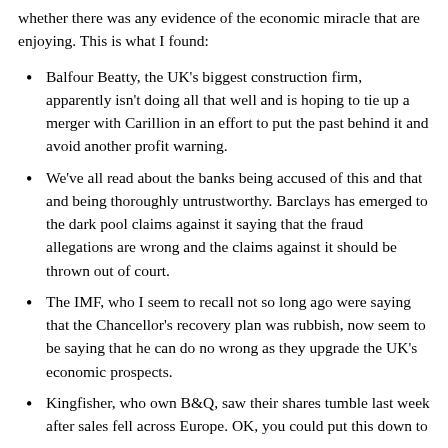whether there was any evidence of the economic miracle that are enjoying. This is what I found:
Balfour Beatty, the UK's biggest construction firm, apparently isn't doing all that well and is hoping to tie up a merger with Carillion in an effort to put the past behind it and avoid another profit warning.
We've all read about the banks being accused of this and that and being thoroughly untrustworthy. Barclays has emerged to the dark pool claims against it saying that the fraud allegations are wrong and the claims against it should be thrown out of court.
The IMF, who I seem to recall not so long ago were saying that the Chancellor's recovery plan was rubbish, now seem to be saying that he can do no wrong as they upgrade the UK's economic prospects.
Kingfisher, who own B&Q, saw their shares tumble last week after sales fell across Europe. OK, you could put this down to